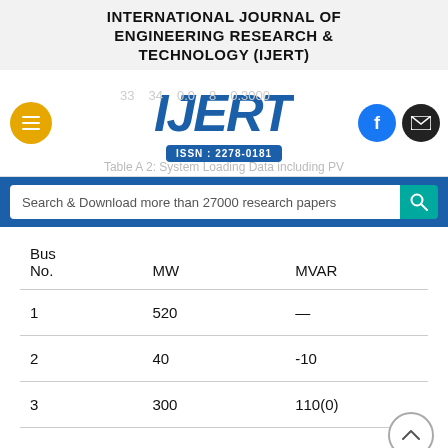INTERNATIONAL JOURNAL OF ENGINEERING RESEARCH & TECHNOLOGY (IJERT)
[Figure (logo): IJERT logo with ISSN: 2278-0181, navigation bar with hamburger menu, Facebook and mail icons, partial data row showing 33, 34, 0.0, 8, 0.3000]
Table A 2: System Loading Data Including PV
| Bus No. | MW | MVAR |
| --- | --- | --- |
| 1 | 520 | — |
| 2 | 40 | -10 |
| 3 | 300 | 110(0) |